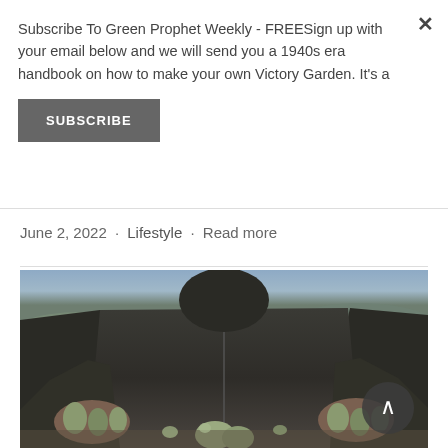Subscribe To Green Prophet Weekly - FREESign up with your email below and we will send you a 1940s era handbook on how to make your own Victory Garden. It's a
SUBSCRIBE
June 2, 2022 · Lifestyle · Read more
[Figure (photo): A man in dark clothing holding what appears to be poppy pods or similar agricultural produce, photographed in a field outdoors]